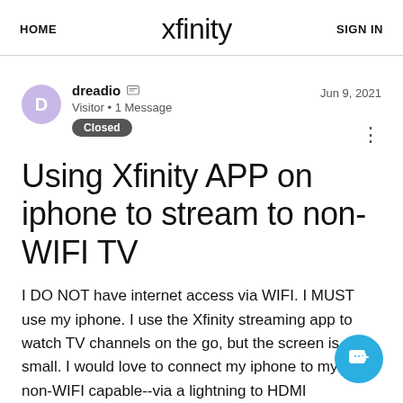HOME  xfinity  SIGN IN
dreadio  Visitor • 1 Message  Closed  Jun 9, 2021
Using Xfinity APP on iphone to stream to non-WIFI TV
I DO NOT have internet access via WIFI. I MUST use my iphone. I use the Xfinity streaming app to watch TV channels on the go, but the screen is small. I would love to connect my iphone to my TV--non-WIFI capable--via a lightning to HDMI